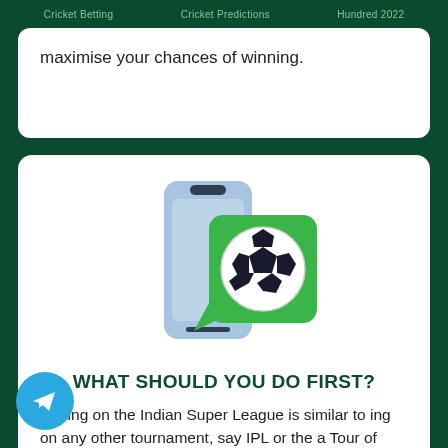Cricket Betting   Cricket Predictions   Hundred 2022
maximise your chances of winning.
[Figure (illustration): A smartphone with a green speech bubble containing a soccer ball icon, representing a sports betting app or prediction service.]
WHAT SHOULD YOU DO FIRST?
Betting on the Indian Super League is similar to betting on any other tournament, say IPL or the India Tour of Australia. First, find yourself the betting sites of your preference – we